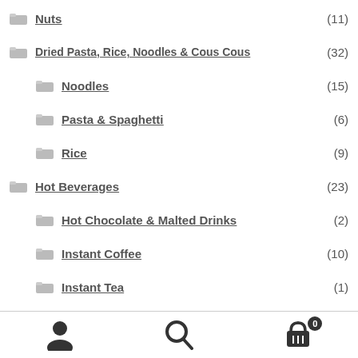Nuts (11)
Dried Pasta, Rice, Noodles & Cous Cous (32)
Noodles (15)
Pasta & Spaghetti (6)
Rice (9)
Hot Beverages (23)
Hot Chocolate & Malted Drinks (2)
Instant Coffee (10)
Instant Tea (1)
Milkshakes (1)
Tea Bags (9)
Navigation bar with user, search, and cart icons